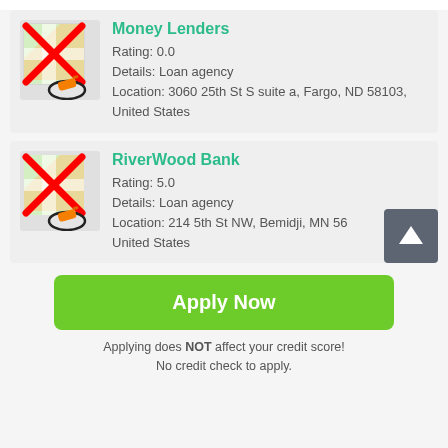[Figure (illustration): Map pin icon with red X overlay and orange pencil/marker, for Money Lenders listing]
Money Lenders
Rating: 0.0
Details: Loan agency
Location: 3060 25th St S suite a, Fargo, ND 58103, United States
[Figure (illustration): Map pin icon with red X overlay and orange pencil/marker, for RiverWood Bank listing]
RiverWood Bank
Rating: 5.0
Details: Loan agency
Location: 214 5th St NW, Bemidji, MN 56 United States
Apply Now
Applying does NOT affect your credit score!
No credit check to apply.